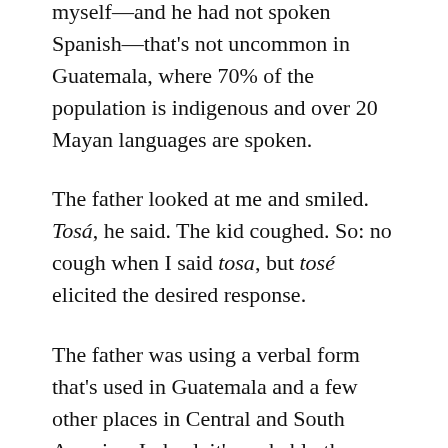myself—and he had not spoken Spanish—that's not uncommon in Guatemala, where 70% of the population is indigenous and over 20 Mayan languages are spoken.
The father looked at me and smiled. Tosá, he said. The kid coughed. So: no cough when I said tosa, but tosé elicited the desired response.
The father was using a verbal form that's used in Guatemala and a few other places in Central and South America. Indeed, it's probably the most distinctive thing about Guatemalan Spanish. However, although I know a few local regional nouns and usually get a happy laugh when I use them, I had never learnt this particular verbal form–Americans would rarely